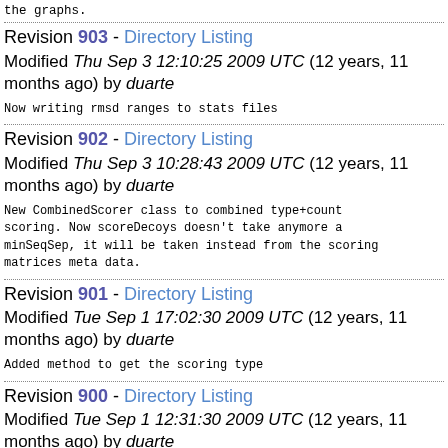the graphs.
Revision 903 - Directory Listing
Modified Thu Sep 3 12:10:25 2009 UTC (12 years, 11 months ago) by duarte
Now writing rmsd ranges to stats files
Revision 902 - Directory Listing
Modified Thu Sep 3 10:28:43 2009 UTC (12 years, 11 months ago) by duarte
New CombinedScorer class to combined type+count scoring. Now scoreDecoys doesn't take anymore a minSeqSep, it will be taken instead from the scoring matrices meta data.
Revision 901 - Directory Listing
Modified Tue Sep 1 17:02:30 2009 UTC (12 years, 11 months ago) by duarte
Added method to get the scoring type
Revision 900 - Directory Listing
Modified Tue Sep 1 12:31:30 2009 UTC (12 years, 11 months ago) by duarte
One more field in DecoyScoreSet: the decoy group to which the decoy belongs and its priority; also b...